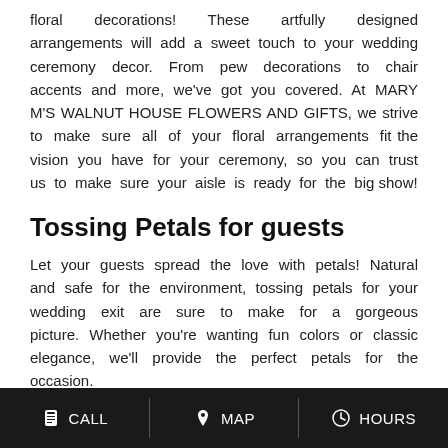floral decorations! These artfully designed arrangements will add a sweet touch to your wedding ceremony decor. From pew decorations to chair accents and more, we've got you covered. At MARY M'S WALNUT HOUSE FLOWERS AND GIFTS, we strive to make sure all of your floral arrangements fit the vision you have for your ceremony, so you can trust us to make sure your aisle is ready for the big show!
Tossing Petals for guests
Let your guests spread the love with petals! Natural and safe for the environment, tossing petals for your wedding exit are sure to make for a gorgeous picture. Whether you're wanting fun colors or classic elegance, we'll provide the perfect petals for the occasion.
CALL  MAP  HOURS